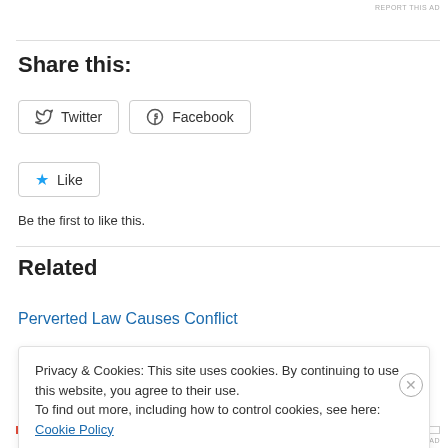REPORT THIS AD
Share this:
Twitter  Facebook
Like
Be the first to like this.
Related
Perverted Law Causes Conflict
Privacy & Cookies: This site uses cookies. By continuing to use this website, you agree to their use.
To find out more, including how to control cookies, see here: Cookie Policy
Close and accept
REPORT THIS AD